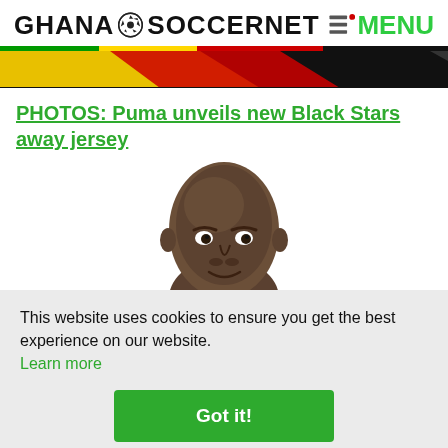GHANA SOCCERNET MENU
[Figure (illustration): Ghana flag colored banner strip with yellow, red, green and black diagonal stripes]
PHOTOS: Puma unveils new Black Stars away jersey
[Figure (photo): Head and shoulders of a bald African man, close-up portrait photo]
This website uses cookies to ensure you get the best experience on our website.
Learn more
Got it!